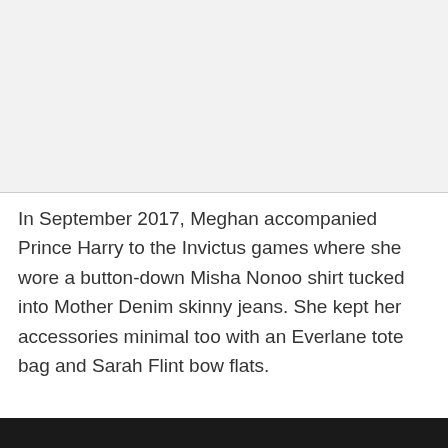[Figure (photo): Gray placeholder area representing a cropped image at the top of the page]
In September 2017, Meghan accompanied Prince Harry to the Invictus games where she wore a button-down Misha Nonoo shirt tucked into Mother Denim skinny jeans. She kept her accessories minimal too with an Everlane tote bag and Sarah Flint bow flats.
[Figure (photo): Partial dark image visible at the very bottom of the page]